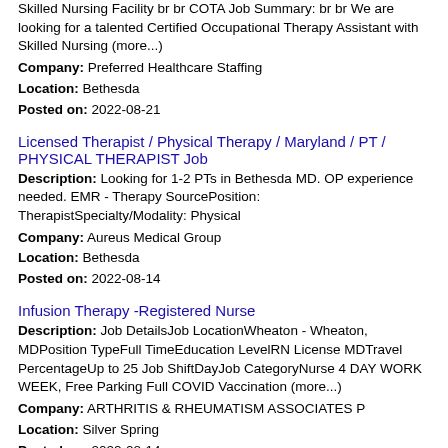Skilled Nursing Facility br br COTA Job Summary: br br We are looking for a talented Certified Occupational Therapy Assistant with Skilled Nursing (more...)
Company: Preferred Healthcare Staffing
Location: Bethesda
Posted on: 2022-08-21
Licensed Therapist / Physical Therapy / Maryland / PT / PHYSICAL THERAPIST Job
Description: Looking for 1-2 PTs in Bethesda MD. OP experience needed. EMR - Therapy SourcePosition: TherapistSpecialty/Modality: Physical
Company: Aureus Medical Group
Location: Bethesda
Posted on: 2022-08-14
Infusion Therapy -Registered Nurse
Description: Job DetailsJob LocationWheaton - Wheaton, MDPosition TypeFull TimeEducation LevelRN License MDTravel PercentageUp to 25 Job ShiftDayJob CategoryNurse 4 DAY WORK WEEK, Free Parking Full COVID Vaccination (more...)
Company: ARTHRITIS & RHEUMATISM ASSOCIATES P
Location: Silver Spring
Posted on: 2022-08-14
Certified Occupational Therapy Assistant
Description: TotalMed is seeking a Certified Occupational Therapy Assistant for an Certified Occupational Therapy...